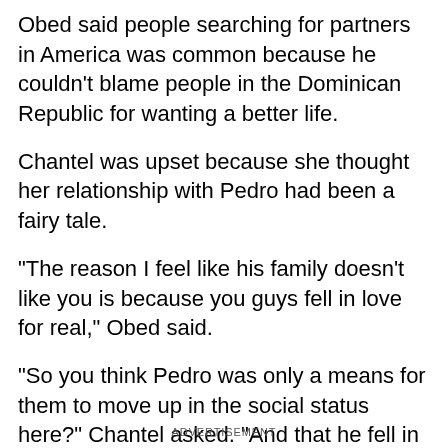Obed said people searching for partners in America was common because he couldn't blame people in the Dominican Republic for wanting a better life.
Chantel was upset because she thought her relationship with Pedro had been a fairy tale.
"The reason I feel like his family doesn't like you is because you guys fell in love for real," Obed said.
"So you think Pedro was only a means for them to move up in the social status here?" Chantel asked. "And that he fell in love with me, and because I'm the woman in his life now, they're jealous of me or something?"
ADVERTISEMENT